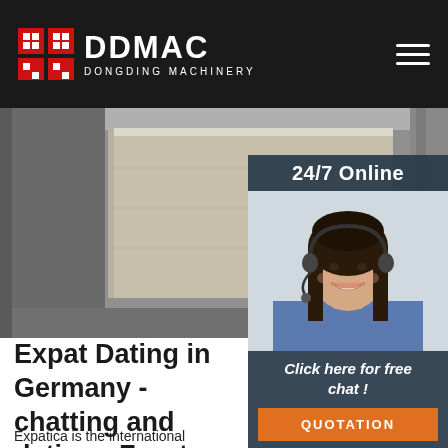DDMAC DONGDING MACHINERY
[Figure (photo): Hero image showing a large concrete block in an industrial/warehouse setting with concrete walls and ceiling]
[Figure (photo): 24/7 Online customer service representative - woman wearing headset, smiling, with dark hair, wearing a blue shirt]
Expat Dating in Germany - chatting and dating - Front
Expatica is the international community's online home away from home. A must-read for English-speaking expatriates and internationals across Europe, Expatica provides a tailored local news service and essential information on living, working, and moving to your country of choice. With in-depth features, Expatica brings the international community closer together.
Click here for free chat !
QUOTATION